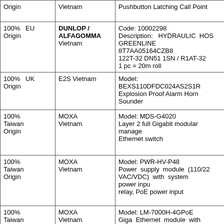| Origin | Vietnam | Pushbutton Latching Call Point |
| 100% EU Origin | DUNLOP / ALFAGOMMA Vietnam | Code: 10002298
Description: HYDRAULIC HOS GREENLINE
8T7AA05164CZB8
122T-32 DN51 1SN / R1AT-32
1 pc = 20m roll |
| 100% UK Origin | E2S Vietnam | Model: BEXS110DFDC024AS2S1R
Explosion Proof Alarm Horn Sounder |
| 100% Taiwan Origin | MOXA Vietnam | Model: MDS-G4020
Layer 2 full Gigabit modular managed Ethernet switch |
| 100% Taiwan Origin | MOXA Vietnam | Model: PWR-HV-P48
Power supply module (110/22 VAC/VDC) with system power input relay, PoE power input |
| 100% Taiwan Origin | MOXA Vietnam | Model: LM-7000H-4GPoE
Giga Ethernet module with 10/100/1000Base-TX IEEE 802.3at/a PoE+ ports |